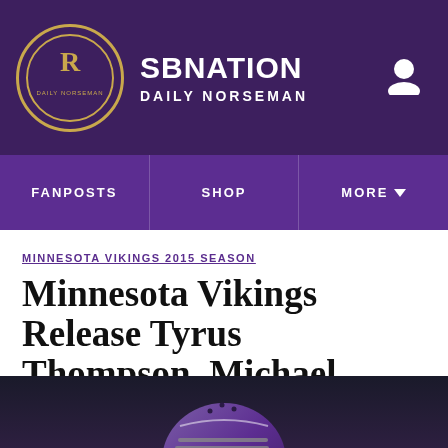SBNation / Daily Norseman
FANPOSTS | SHOP | MORE
MINNESOTA VIKINGS 2015 SEASON
Minnesota Vikings Release Tyrus Thompson, Michael Mauti
By Christopher Gates | Sep 5, 2015, 3:19pm CDT
SHARE
[Figure (photo): Person wearing a purple Minnesota Vikings football helmet, shown from approximately chin up, dark blurred background]